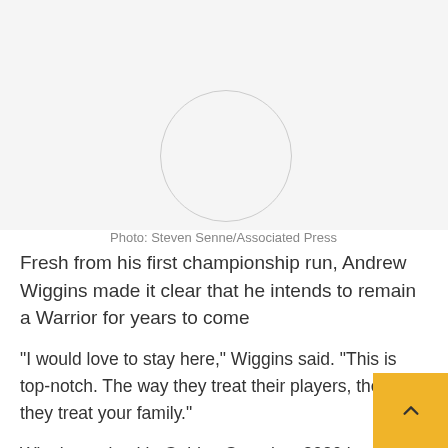[Figure (photo): Photo placeholder area with circle watermark, light gray background]
Photo: Steven Senne/Associated Press
Fresh from his first championship run, Andrew Wiggins made it clear that he intends to remain a Warrior for years to come
“I would love to stay here,” Wiggins said. “This is top-notch. The way they treat their players, the way they treat your family.”
Wiggins arrived in Golden State last 2020 in a trade from the Minnesota Timberwolves. Two years have